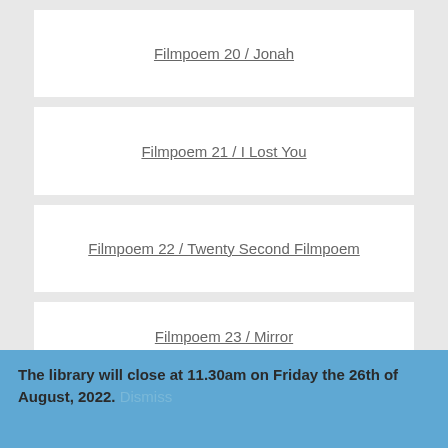Filmpoem 20 / Jonah
Filmpoem 21 / I Lost You
Filmpoem 22 / Twenty Second Filmpoem
Filmpoem 23 / Mirror
The library will close at 11.30am on Friday the 26th of August, 2022. Dismiss